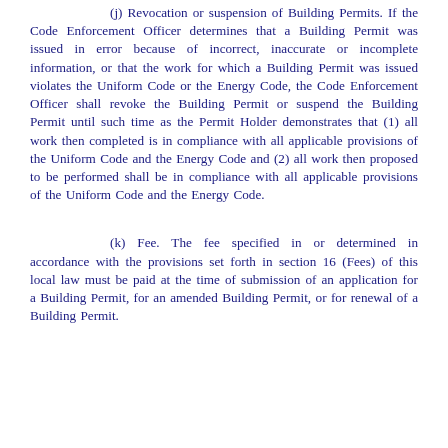(j) Revocation or suspension of Building Permits. If the Code Enforcement Officer determines that a Building Permit was issued in error because of incorrect, inaccurate or incomplete information, or that the work for which a Building Permit was issued violates the Uniform Code or the Energy Code, the Code Enforcement Officer shall revoke the Building Permit or suspend the Building Permit until such time as the Permit Holder demonstrates that (1) all work then completed is in compliance with all applicable provisions of the Uniform Code and the Energy Code and (2) all work then proposed to be performed shall be in compliance with all applicable provisions of the Uniform Code and the Energy Code.
(k) Fee. The fee specified in or determined in accordance with the provisions set forth in section 16 (Fees) of this local law must be paid at the time of submission of an application for a Building Permit, for an amended Building Permit, or for renewal of a Building Permit.